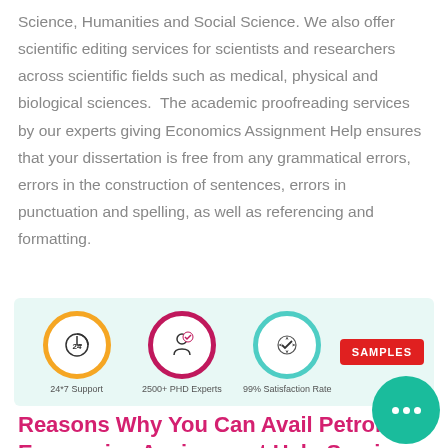Science, Humanities and Social Science. We also offer scientific editing services for scientists and researchers across scientific fields such as medical, physical and biological sciences.  The academic proofreading services by our experts giving Economics Assignment Help ensures that your dissertation is free from any grammatical errors, errors in the construction of sentences, errors in punctuation and spelling, as well as referencing and formatting.
[Figure (infographic): Infographic banner showing three icons on a light green background: a clock icon labeled '24*7 Support', a person with checkmark icon labeled '2500+ PHD Experts', and a gear with checkmark icon labeled '99% Satisfaction Rate', plus a red 'SAMPLES' button.]
Reasons Why You Can Avail Petroleum Economics Assignment Help Service And Assignment Help